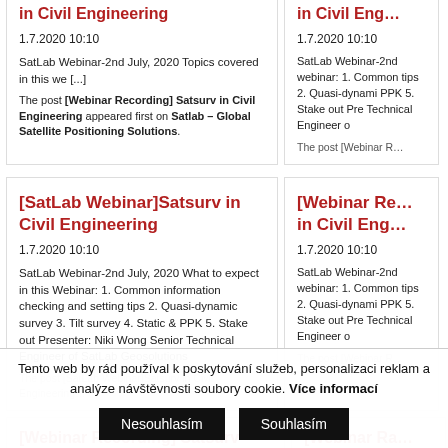in Civil Engineering
1.7.2020 10:10
SatLab Webinar-2nd July, 2020 Topics covered in this we [...]
The post [Webinar Recording] Satsurv in Civil Engineering appeared first on Satlab – Global Satellite Positioning Solutions.
in Civil Eng…
1.7.2020 10:10
SatLab Webinar-2nd webinar: 1. Common tips 2. Quasi-dynami PPK 5. Stake out Pre Technical Engineer o
The post [Webinar R…
[SatLab Webinar]Satsurv in Civil Engineering
1.7.2020 10:10
SatLab Webinar-2nd July, 2020 What to expect in this Webinar: 1. Common information checking and setting tips 2. Quasi-dynamic survey 3. Tilt survey 4. Static & PPK 5. Stake out Presenter: Niki Wong Senior Technical Engineer of SatLab Geosolutions
The post [SatLab Webinar]Satsurv in Civil Engineering…
[Webinar Re… in Civil Eng…
1.7.2020 10:10
SatLab Webinar-2nd webinar: 1. Common tips 2. Quasi-dynami PPK 5. Stake out Pre Technical Engineer o
The post [Webinar R…
[Webinar Recording] Satsurv
[Webinar Re…
Tento web by rád používal k poskytování služeb, personalizaci reklam a analýze návštěvnosti soubory cookie. Více informací
Nesouhlasím
Souhlasím